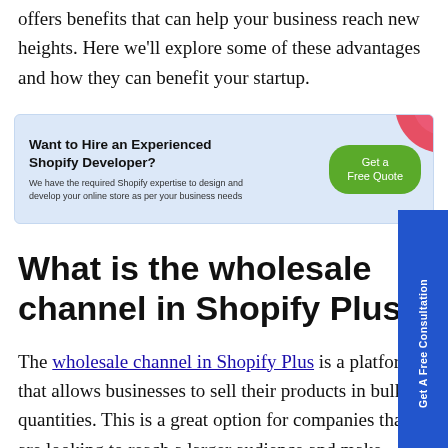offers benefits that can help your business reach new heights. Here we'll explore some of these advantages and how they can benefit your startup.
[Figure (infographic): Advertisement banner with light blue background. Left side has bold text 'Want to Hire an Experienced Shopify Developer?' with smaller text 'We have the required Shopify expertise to design and develop your online store as per your business needs'. Center-right has a green rounded button 'Get a Free Quote'. Top right has a decorative red/pink circle arc element.]
What is the wholesale channel in Shopify Plus?
The wholesale channel in Shopify Plus is a platform that allows businesses to sell their products in bulk quantities. This is a great option for companies that are looking to reach a larger audience and make